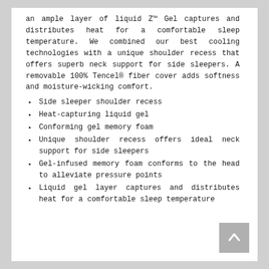an ample layer of liquid Z™ Gel captures and distributes heat for a comfortable sleep temperature. We combined our best cooling technologies with a unique shoulder recess that offers superb neck support for side sleepers. A removable 100% Tencel® fiber cover adds softness and moisture-wicking comfort.
Side sleeper shoulder recess
Heat-capturing liquid gel
Conforming gel memory foam
Unique shoulder recess offers ideal neck support for side sleepers
Gel-infused memory foam conforms to the head to alleviate pressure points
Liquid gel layer captures and distributes heat for a comfortable sleep temperature